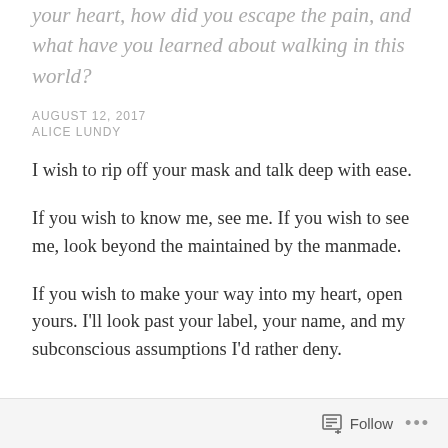I want to know who flung those arrows into your heart, how did you escape the pain, and what have you learned about walking in this world?
AUGUST 12, 2017
ALICE LUNDY
I wish to rip off your mask and talk deep with ease.
If you wish to know me, see me. If you wish to see me, look beyond the maintained by the manmade.
If you wish to make your way into my heart, open yours. I'll look past your label, your name, and my subconscious assumptions I'd rather deny.
Follow ...